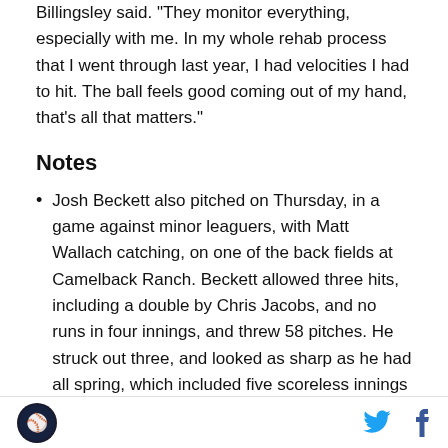Billingsley said. "They monitor everything, especially with me. In my whole rehab process that I went through last year, I had velocities I had to hit. The ball feels good coming out of my hand, that's all that matters."
Notes
Josh Beckett also pitched on Thursday, in a game against minor leaguers, with Matt Wallach catching, on one of the back fields at Camelback Ranch. Beckett allowed three hits, including a double by Chris Jacobs, and no runs in four innings, and threw 58 pitches. He struck out three, and looked as sharp as he had all spring, which included five scoreless innings in two Cactus League starts